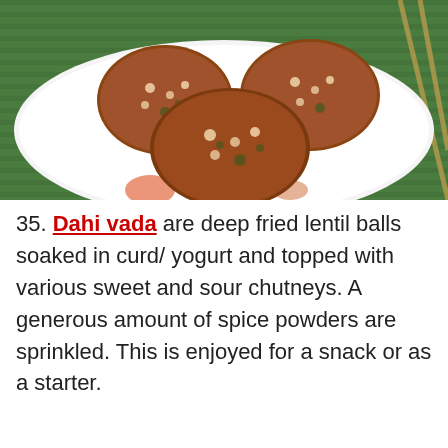[Figure (photo): Photo of crispy fried vada (lentil fritters) on a white decorative plate with floral pattern, placed on a green bamboo mat]
35. Dahi vada are deep fried lentil balls soaked in curd/ yogurt and topped with various sweet and sour chutneys. A generous amount of spice powders are sprinkled. This is enjoyed for a snack or as a starter.
[Figure (photo): Partial photo showing bowls of green, brown/red, and orange chutneys at the bottom of the page]